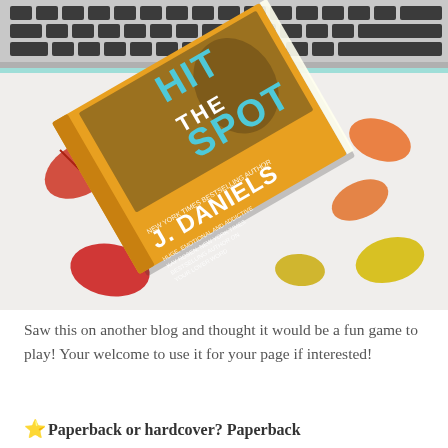[Figure (photo): A book titled 'Hit the Spot' by J. Daniels lying on a white desk next to a laptop keyboard, surrounded by colorful autumn leaves. The book cover is yellow-orange with the title in large teal letters and a portrait of a man in a yellow shirt.]
Saw this on another blog and thought it would be a fun game to play! Your welcome to use it for your page if interested!
⭐ Paperback or hardcover? Paperback